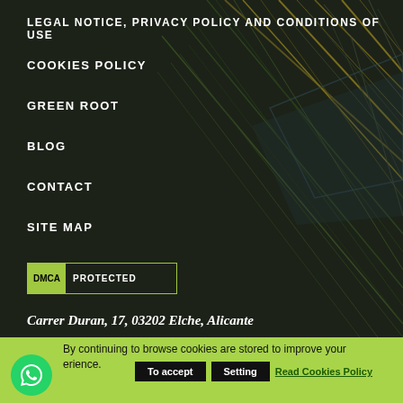LEGAL NOTICE, PRIVACY POLICY AND CONDITIONS OF USE
COOKIES POLICY
GREEN ROOT
BLOG
CONTACT
SITE MAP
[Figure (logo): DMCA PROTECTED badge with green DMCA box and white PROTECTED text on dark bordered rectangle]
Carrer Duran, 17, 03202 Elche, Alicante
LAST ENTRIES
By continuing to browse cookies are stored to improve your experience.
To accept  Setting  Read Cookies Policy